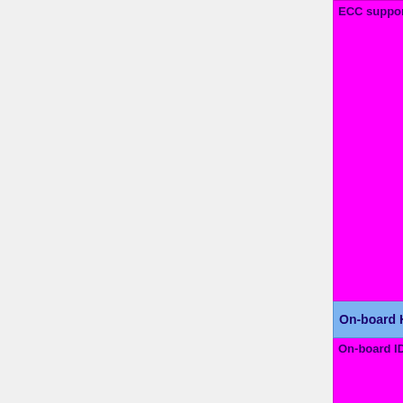| Feature | Status |
| --- | --- |
| ECC support | OK=lime | TODO=red | No=red | WIP=orange Untested=yellow | N/A=lightgray yellow }}" | ? |
| On-board Hardware |  |
| On-board IDE 3.5" | OK=lime | TODO=red | No=red | WIP=orange Untested=yellow | N/A=lightgray yellow }}" | |
| On-board IDE 2.5" | OK=lime | TODO=red | No=red | WIP=orange Untested=yellow | N/A=lightgra yellow }}" | N/ |
| On-board SATA | OK=lime | |